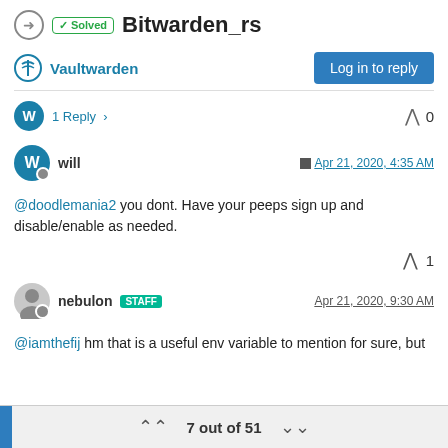✓ Solved  Bitwarden_rs
Vaultwarden
Log in to reply
1 Reply  ›   0
will   Apr 21, 2020, 4:35 AM
@doodlemania2 you dont. Have your peeps sign up and disable/enable as needed.
^ 1
nebulon  STAFF   Apr 21, 2020, 9:30 AM
@iamthefij hm that is a useful env variable to mention for sure, but
7 out of 51